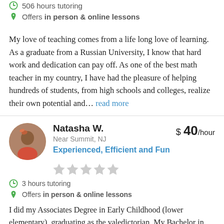506 hours tutoring
Offers in person & online lessons
My love of teaching comes from a life long love of learning. As a graduate from a Russian University, I know that hard work and dedication can pay off. As one of the best math teacher in my country, I have had the pleasure of helping hundreds of students, from high schools and colleges, realize their own potential and… read more
Natasha W.
Near Summit, NJ
$ 40/hour
Experienced, Efficient and Fun
3 hours tutoring
Offers in person & online lessons
I did my Associates Degree in Early Childhood (lower elementary), graduating as the valedictorian. My Bachelor in